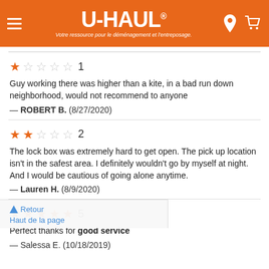U-HAUL® — Votre ressource pour le déménagement et l'entreposage.
★☆☆☆☆ 1
Guy working there was higher than a kite, in a bad run down neighborhood, would not recommend to anyone
— ROBERT B. (8/27/2020)
★★☆☆☆ 2
The lock box was extremely hard to get open. The pick up location isn't in the safest area. I definitely wouldn't go by myself at night. And I would be cautious of going alone anytime.
— Lauren H. (8/9/2020)
★★★★★ 5
Perfect thanks for good service
— Salessa E. (10/18/2019)